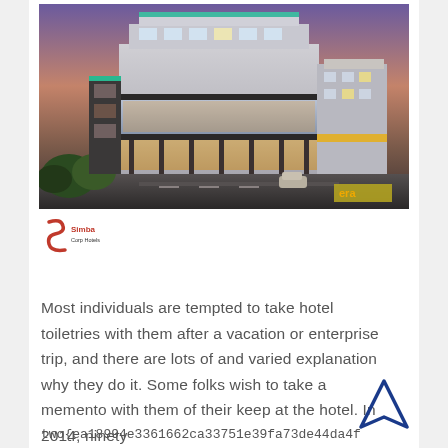[Figure (photo): Architectural rendering of a modern multi-story hotel/commercial building at dusk with illuminated interiors, dark facade with glass panels, and a purple-orange sky. ERA logo visible in bottom right corner of image.]
[Figure (logo): Simba Corp Hotels logo — red stylized S icon with red and dark text below]
Most individuals are tempted to take hotel toiletries with them after a vacation or enterprise trip, and there are lots of and varied explanation why they do it. Some folks wish to take a memento with them of their keep at the hotel. In 2014, ninety
two{ea18994e3361662ca33751e39fa73de44da4f